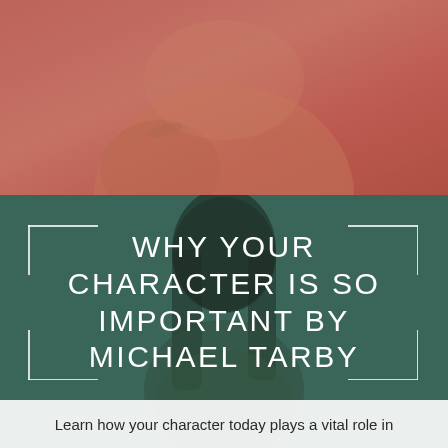[Figure (photo): Top portion showing a blurred/tinted photo of a person sitting, with a reddish-rose color overlay]
[Figure (photo): Background photo of a smiling woman with dark hair, overlaid with a dark teal/green semi-transparent color wash]
WHY YOUR CHARACTER IS SO IMPORTANT BY MICHAEL TARBY
Learn how your character today plays a vital role in